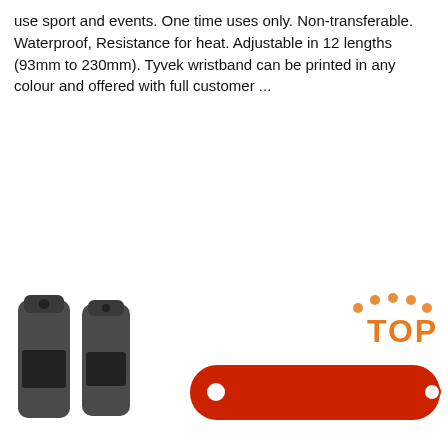use sport and events. One time uses only. Non-transferable. Waterproof, Resistance for heat. Adjustable in 12 lengths (93mm to 230mm). Tyvek wristband can be printed in any colour and offered with full customer ...
[Figure (other): Orange 'Get Price' button]
[Figure (infographic): 24/7 Online chat widget with woman wearing headset, 'Click here for free chat!' text, and orange QUOTATION button]
[Figure (photo): Two dark plastic clip/USB devices on the left, a red wristband/slap band in the center, and a TOP badge logo on the right]